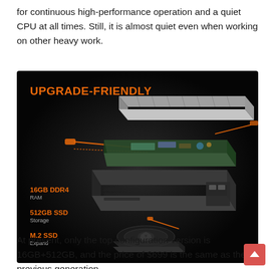for continuous high-performance operation and a quiet CPU at all times. Still, it is almost quiet even when working on other heavy work.
[Figure (photo): Exploded view product photo of a mini PC with dark background. Orange text 'UPGRADE-FRIENDLY' at top left. Labels on left side show '16GB DDR4 RAM', '512GB SSD Storage', 'M.2 SSD Expand'. The image shows separated components of the PC including heat sink, motherboard, chassis, and cooling fan, with orange connector lines.]
At present, only the top configuration version is 16GB+512GB, and the price of $699 is the same as the previous generation.